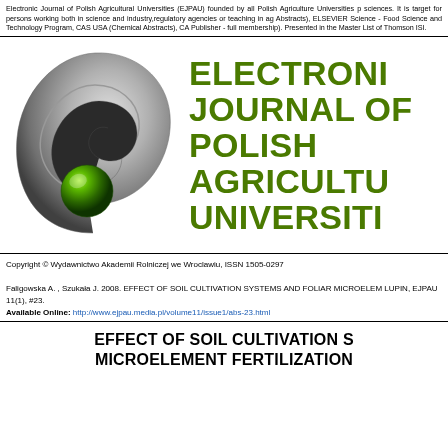Electronic Journal of Polish Agricultural Universities (EJPAU) founded by all Polish Agriculture Universities p sciences. It is target for persons working both in science and industry,regulatory agencies or teaching in ag Abstracts), ELSEVIER Science - Food Science and Technology Program, CAS USA (Chemical Abstracts), CA Publisher - full membership). Presented in the Master List of Thomson ISI.
[Figure (logo): EJPAU logo: stylized metallic curl/scroll with a green sphere at center]
ELECTRONIC JOURNAL OF POLISH AGRICULTURAL UNIVERSITIES
Copyright © Wydawnictwo Akademii Rolniczej we Wroclawiu, ISSN 1505-0297
Faligowska A. , Szukała J. 2008. EFFECT OF SOIL CULTIVATION SYSTEMS AND FOLIAR MICROELEM LUPIN, EJPAU 11(1), #23.
Available Online: http://www.ejpau.media.pl/volume11/issue1/abs-23.html
EFFECT OF SOIL CULTIVATION S MICROELEMENT FERTILIZATION